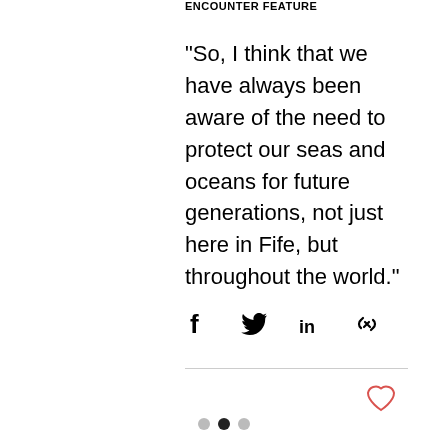ENCOUNTER FEATURE
“So, I think that we have always been aware of the need to protect our seas and oceans for future generations, not just here in Fife, but throughout the world.”
[Figure (infographic): Social share icons: Facebook, Twitter, LinkedIn, Link]
[Figure (infographic): Heart/like icon (red outline)]
[Figure (infographic): Pagination dots: grey, black, grey]